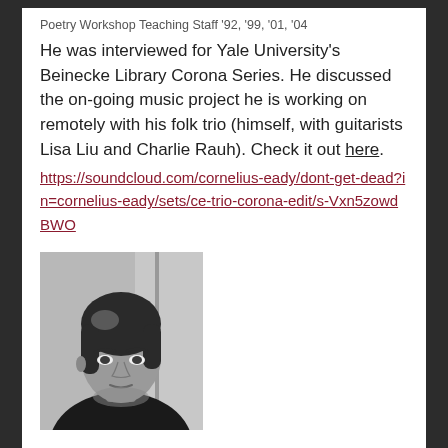Poetry Workshop Teaching Staff '92, '99, '01, '04
He was interviewed for Yale University's Beinecke Library Corona Series. He discussed the on-going music project he is working on remotely with his folk trio (himself, with guitarists Lisa Liu and Charlie Rauh). Check it out here. https://soundcloud.com/cornelius-eady/dont-get-dead?in=cornelius-eady/sets/ce-trio-corona-edit/s-Vxn5zowdBWO
[Figure (photo): Black and white portrait photograph of a woman with dark hair, looking slightly to the side, wearing dark clothing.]